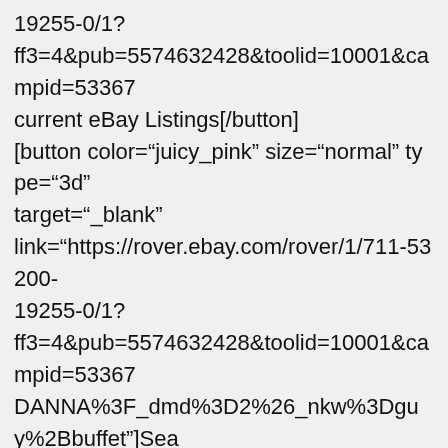19255-0/1?
ff3=4&pub=5574632428&toolid=10001&campid=53367
current eBay Listings[/button]
[button color="juicy_pink" size="normal" type="3d"
target="_blank"
link="https://rover.ebay.com/rover/1/711-53200-19255-0/1?
ff3=4&pub=5574632428&toolid=10001&campid=53367
DANNA%3F_dmd%3D2%26_nkw%3Dguy%2Bbuffet"]Sea
My eBay Store for Guy Buffet Listings[/button]
[button color="juicy_pink" size="normal" type="3d"
target="_blank"
link="https://rover.ebay.com/rover/1/711-53200-19255-0/1?
ff3=4&pub=5574632428&toolid=10001&campid=53367